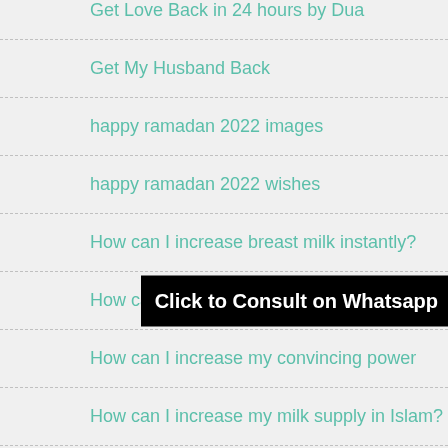Get Love Back in 24 hours by Dua
Get My Husband Back
happy ramadan 2022 images
happy ramadan 2022 wishes
How can I increase breast milk instantly?
How can I increase my br…
How can I increase my convincing power
How can I increase my milk supply in Islam?
How can I save my relationship?
How can we increase our breast size